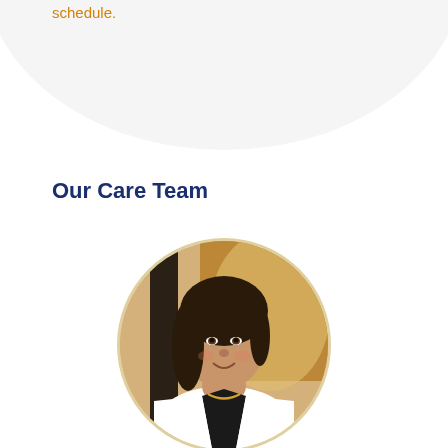schedule.
Our Care Team
[Figure (photo): Circular portrait photo of a female doctor wearing a white coat and gold necklace, smiling, with a warm blurred background]